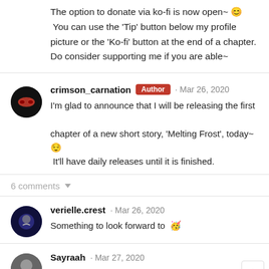The option to donate via ko-fi is now open~ 😊 You can use the 'Tip' button below my profile picture or the 'Ko-fi' button at the end of a chapter. Do consider supporting me if you are able~
crimson_carnation · Author · Mar 26, 2020
I'm glad to announce that I will be releasing the first chapter of a new short story, 'Melting Frost', today~ 😌 It'll have daily releases until it is finished.
6 comments
verielle.crest · Mar 26, 2020
Something to look forward to 🎉
Sayraah · Mar 27, 2020